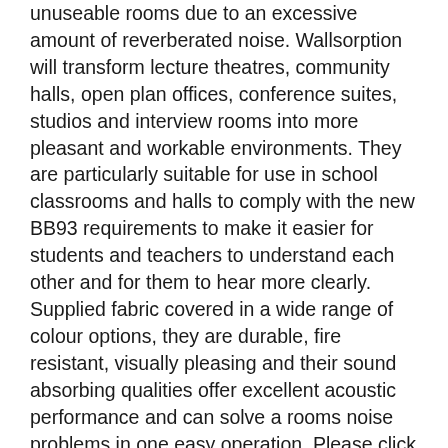unuseable rooms due to an excessive amount of reverberated noise. Wallsorption will transform lecture theatres, community halls, open plan offices, conference suites, studios and interview rooms into more pleasant and workable environments. They are particularly suitable for use in school classrooms and halls to comply with the new BB93 requirements to make it easier for students and teachers to understand each other and for them to hear more clearly. Supplied fabric covered in a wide range of colour options, they are durable, fire resistant, visually pleasing and their sound absorbing qualities offer excellent acoustic performance and can solve a rooms noise problems in one easy operation. Please click above to see our Fabric colour chart.
The Wallsorption panels are finished in a high quality acoustically transparent fabric available in 20 standard colours. We are proud to say this fabric is recycled and is further testament to our commitment to the environment. Please view colour chart link above. If required, the panels can also be used for displaying